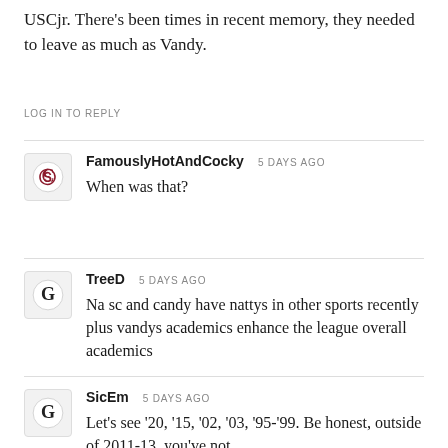USCjr. There's been times in recent memory, they needed to leave as much as Vandy.
LOG IN TO REPLY
FamouslyHotAndCocky  5 DAYS AGO
When was that?
TreeD  5 DAYS AGO
Na sc and candy have nattys in other sports recently plus vandys academics enhance the league overall academics
SicEm  5 DAYS AGO
Let's see '20, '15, '02, '03, '95-'99. Be honest, outside of 2011-13, you've not